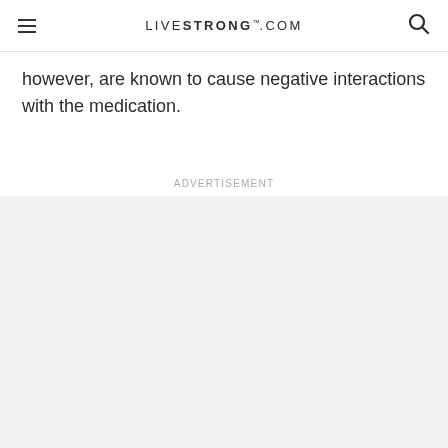LIVESTRONG.COM
however, are known to cause negative interactions with the medication.
Advertisement